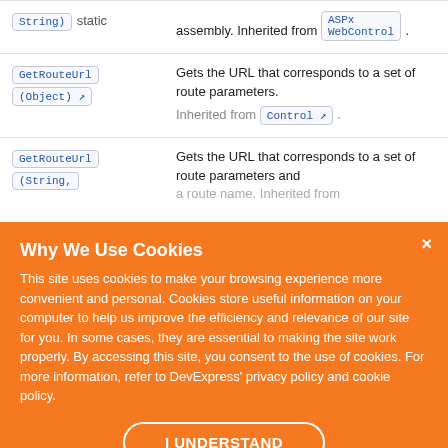| Method | Description |
| --- | --- |
| String) static | assembly. Inherited from ASPxWebControl . |
| GetRouteUrl (Object) ↗ | Gets the URL that corresponds to a set of route parameters. Inherited from Control ↗ . |
| GetRouteUrl (String, ... | Gets the URL that corresponds to a set of route parameters and a route name. Inherited from ... |
| Dictionary) ↗ | Inherited from Control ↗ |
Why We Use Cookies
This site uses cookies to make your browsing experience more convenient and personal. Cookies store useful information on your computer to help us improve the efficiency and relevance of our site for you. In some cases, they are essential to making the site work properly. By accessing this site, you consent to the use of cookies. For more information, refer to DevExpress' privacy policy and cookie policy.
I UNDERSTAND